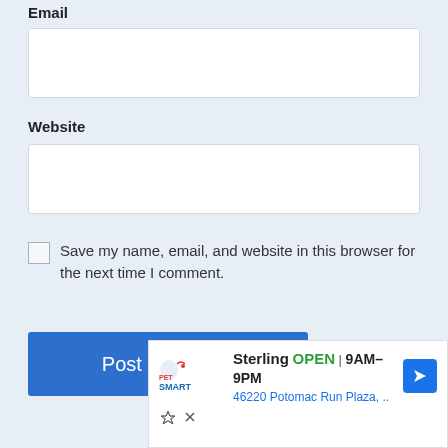Email
[Email input field]
Website
[Website input field]
Save my name, email, and website in this browser for the next time I comment.
Post Comment
[Figure (screenshot): PetSmart advertisement banner showing Sterling location, OPEN 9AM-9PM, 46220 Potomac Run Plaza, with navigation arrow icon]